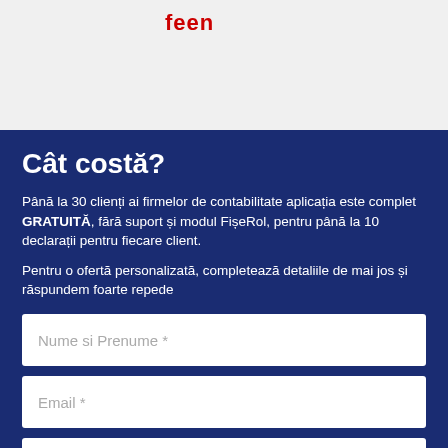[Figure (logo): Partial red logo/brand name at top left of gray header section]
Cât costă?
Până la 30 clienți ai firmelor de contabilitate aplicația este complet GRATUITĂ, fără suport și modul FișeRol, pentru până la 10 declarații pentru fiecare client.
Pentru o ofertă personalizată, completează detaliile de mai jos și răspundem foarte repede
Nume si Prenume *
Email *
Telefon
Număr firme(clienți)/Case de marcat (ex. r...